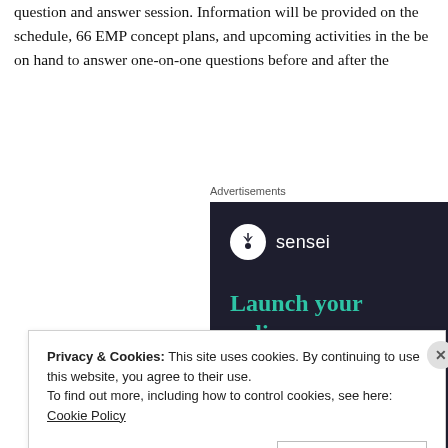question and answer session. Information will be provided on the schedule, 66 EMP concept plans, and upcoming activities in the be on hand to answer one-on-one questions before and after the
Advertisements
[Figure (other): Sensei advertisement banner with dark navy background. Shows the Sensei logo (tree icon in white circle) with brand name 'sensei', headline text 'Launch your online course with WordPr' in teal, and a teal 'Learn More' rounded button.]
Privacy & Cookies: This site uses cookies. By continuing to use this website, you agree to their use.
To find out more, including how to control cookies, see here: Cookie Policy
Close and accept